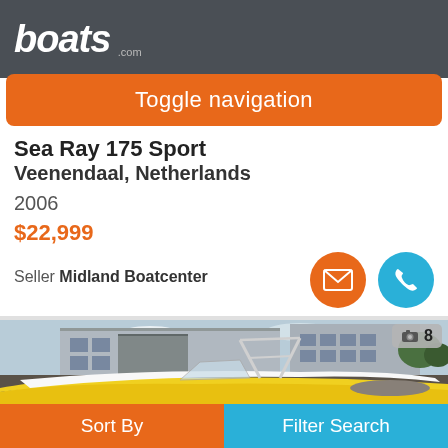boats .com
Toggle navigation
Sea Ray 175 Sport
Veenendaal, Netherlands
2006
$22,999
Seller Midland Boatcenter
[Figure (photo): Sea Ray 175 Sport boat photographed in front of a building, yellow hull, with wake tower, 8 photos available]
Sort By
Filter Search